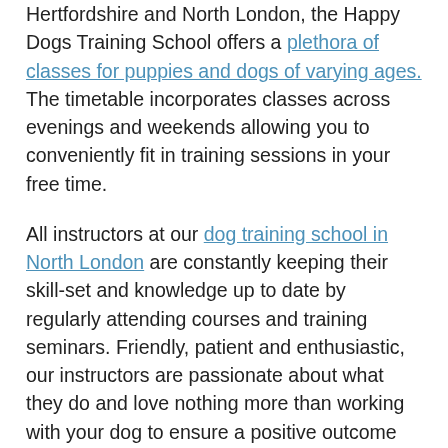Hertfordshire and North London, the Happy Dogs Training School offers a plethora of classes for puppies and dogs of varying ages. The timetable incorporates classes across evenings and weekends allowing you to conveniently fit in training sessions in your free time.
All instructors at our dog training school in North London are constantly keeping their skill-set and knowledge up to date by regularly attending courses and training seminars. Friendly, patient and enthusiastic, our instructors are passionate about what they do and love nothing more than working with your dog to ensure a positive outcome from the classes.
Adopted a new puppy who is a bit unruly? Our puppy classes cover all the essentials including obedience, grooming, nutrition, communication, and much more. The classes incorporate assessment for the Kennel Club Puppy Foundation Award for which you will be awarded a certificate and rosette if you pass all the requirements. The final week